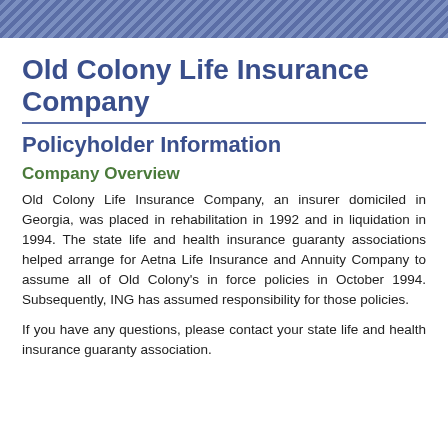Old Colony Life Insurance Company
Policyholder Information
Company Overview
Old Colony Life Insurance Company, an insurer domiciled in Georgia, was placed in rehabilitation in 1992 and in liquidation in 1994. The state life and health insurance guaranty associations helped arrange for Aetna Life Insurance and Annuity Company to assume all of Old Colony's in force policies in October 1994. Subsequently, ING has assumed responsibility for those policies.
If you have any questions, please contact your state life and health insurance guaranty association.